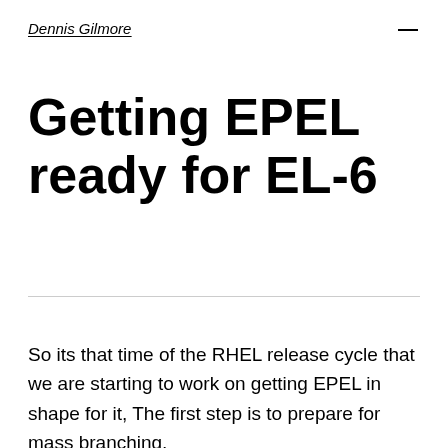Dennis Gilmore
Getting EPEL ready for EL-6
So its that time of the RHEL release cycle that we are starting to work on getting EPEL in shape for it, The first step is to prepare for mass branching,